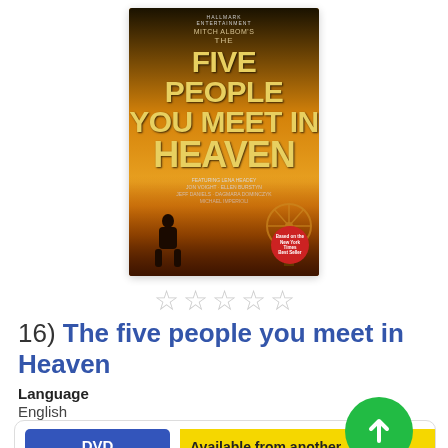[Figure (photo): DVD cover of 'The Five People You Meet in Heaven' — dark warm tones with golden title text, silhouette of a person against a sunset fairground scene]
[Figure (other): Five empty star rating icons in a row]
16) The five people you meet in Heaven
Language
English
DVD
Show Edition
Available from another
Where is it?
Place Hold